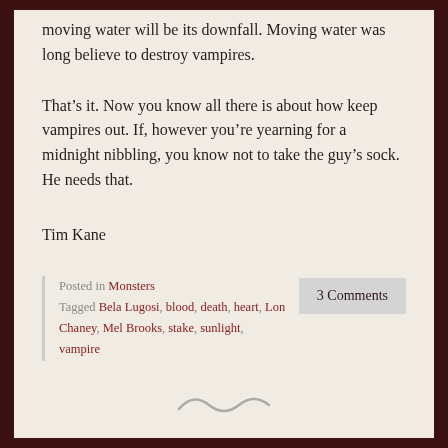moving water will be its downfall. Moving water was long believe to destroy vampires.
That’s it. Now you know all there is about how keep vampires out. If, however you’re yearning for a midnight nibbling, you know not to take the guy’s sock. He needs that.
Tim Kane
Posted in Monsters
Tagged Bela Lugosi, blood, death, heart, Lon Chaney, Mel Brooks, stake, sunlight, vampire
3 Comments
[Figure (illustration): A small tilde/wave decorative divider]